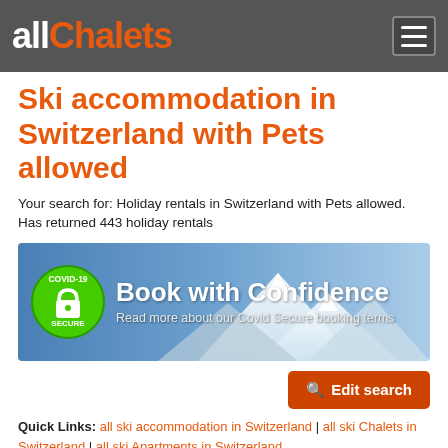allChalets
Ski accommodation in Switzerland with Pets allowed
Your search for: Holiday rentals in Switzerland with Pets allowed. Has returned 443 holiday rentals
[Figure (infographic): Book with Confidence banner with COVID-19 Secure badge and mountain background]
Edit search
Quick Links: all ski accommodation in Switzerland | all ski Chalets in Switzerland | all ski Apartments in Switzerland
1 - 20 of 443
Default sort